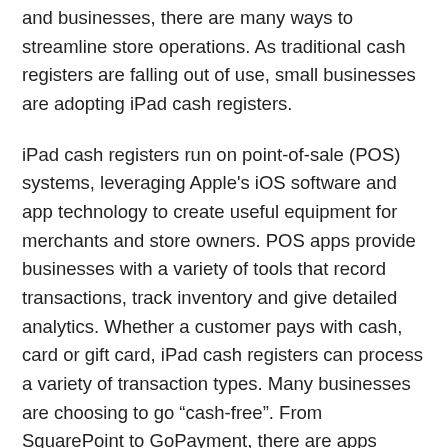and businesses, there are many ways to streamline store operations. As traditional cash registers are falling out of use, small businesses are adopting iPad cash registers.
iPad cash registers run on point-of-sale (POS) systems, leveraging Apple's iOS software and app technology to create useful equipment for merchants and store owners. POS apps provide businesses with a variety of tools that record transactions, track inventory and give detailed analytics. Whether a customer pays with cash, card or gift card, iPad cash registers can process a variety of transaction types. Many businesses are choosing to go “cash-free”. From SquarePoint to GoPayment, there are apps available to suit any merchant.
Steps to Use iPad POS